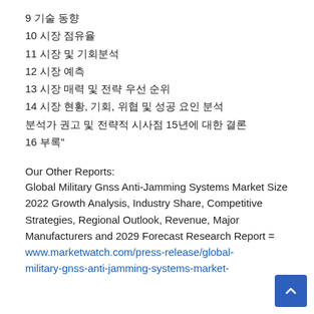9 기술 동향
10 시장 점유율
11 시장 및 기회분석
12 시장 예측
13 시장 매력 및 전략 우선 순위
14 시장 현황, 기회, 위협 및 성공 요인 분석
분석가 권고 및 전략적 시사점 15년에 대한 결론
16 부록"
Our Other Reports:
Global Military Gnss Anti-Jamming Systems Market Size 2022 Growth Analysis, Industry Share, Competitive Strategies, Regional Outlook, Revenue, Major Manufacturers and 2029 Forecast Research Report = www.marketwatch.com/press-release/global-military-gnss-anti-jamming-systems-market-